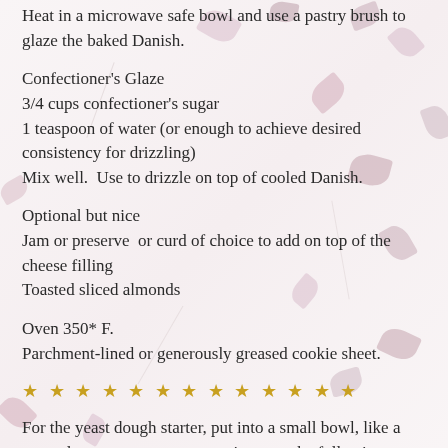Heat in a microwave safe bowl and use a pastry brush to glaze the baked Danish.
Confectioner's Glaze
3/4 cups confectioner's sugar
1 teaspoon of water (or enough to achieve desired consistency for drizzling)
Mix well.  Use to drizzle on top of cooled Danish.
Optional but nice
Jam or preserve  or curd of choice to add on top of the cheese filling
Toasted sliced almonds
Oven 350* F.
Parchment-lined or generously greased cookie sheet.
★ ★ ★ ★ ★ ★ ★ ★ ★ ★ ★ ★ ★
For the yeast dough starter, put into a small bowl, like a custard cup, or one cup measuring cup, the following ingredients: